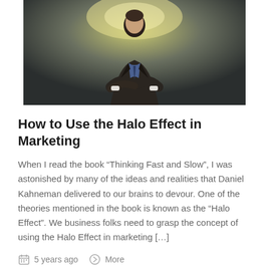[Figure (photo): A man in a dark business suit with arms crossed, looking upward, with a glowing halo-like light above his head against a dark textured background.]
How to Use the Halo Effect in Marketing
When I read the book “Thinking Fast and Slow”, I was astonished by many of the ideas and realities that Daniel Kahneman delivered to our brains to devour. One of the theories mentioned in the book is known as the “Halo Effect”. We business folks need to grasp the concept of using the Halo Effect in marketing […]
5 years ago   More